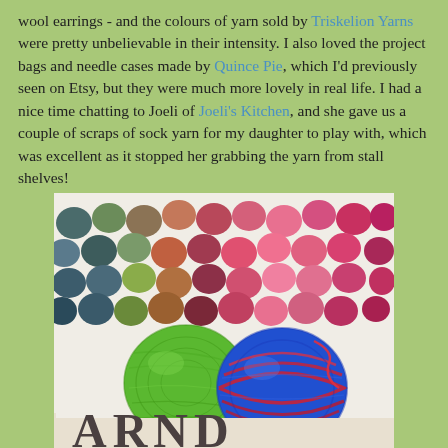wool earrings - and the colours of yarn sold by Triskelion Yarns were pretty unbelievable in their intensity. I also loved the project bags and needle cases made by Quince Pie, which I'd previously seen on Etsy, but they were much more lovely in real life. I had a nice time chatting to Joeli of Joeli's Kitchen, and she gave us a couple of scraps of sock yarn for my daughter to play with, which was excellent as it stopped her grabbing the yarn from stall shelves!
[Figure (photo): Two balls of yarn (one green, one blue and red) sitting in front of a colourful pom-pom blanket, on a fabric bag with large letters 'YARN' partially visible.]